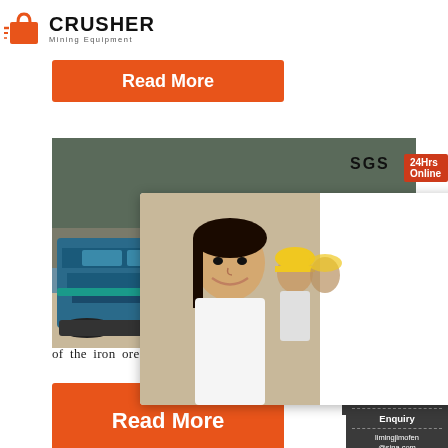[Figure (logo): Crusher Mining Equipment logo with shopping bag icon and bold CRUSHER text]
Read More
[Figure (photo): Mining scene with blue crusher machine on left, workers in yellow hard hats in center-right, overlaid with live chat popup showing woman smiling]
SGS
24Hrs Online
LIVE CHAT
Click for a Free Consultation
Chat now
Chat later
of the iron ore from the perspective of semi-aut
Read More
Need questions & suggestion?
Chat Now
Enquiry
limingjlmofen@sina.com